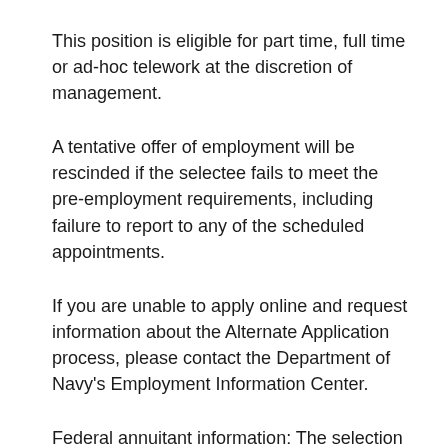This position is eligible for part time, full time or ad-hoc telework at the discretion of management.
A tentative offer of employment will be rescinded if the selectee fails to meet the pre-employment requirements, including failure to report to any of the scheduled appointments.
If you are unable to apply online and request information about the Alternate Application process, please contact the Department of Navy's Employment Information Center.
Federal annuitant information: The selection of an annuitant is subject to the Department of Defense and Department of the Navy policy on the employment of annuitants. Policy information may be found at: